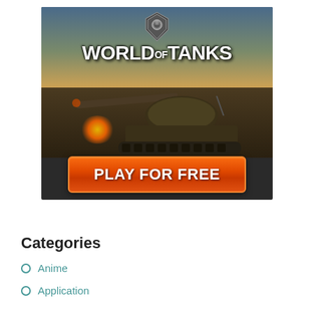[Figure (illustration): World of Tanks game advertisement banner. Dark background with a military tank on a battlefield, orange/golden sky. 'WORLD OF TANKS' logo at top with shield emblem. Orange 'PLAY FOR FREE' button at the bottom of the banner.]
Categories
Anime
Application